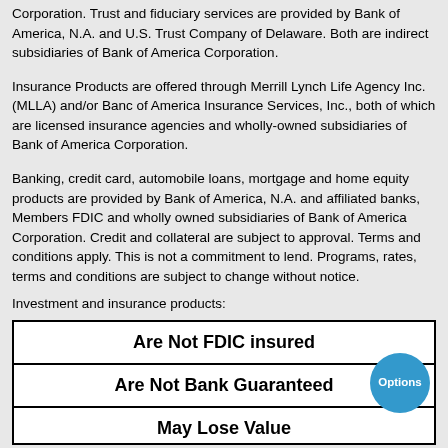Corporation. Trust and fiduciary services are provided by Bank of America, N.A. and U.S. Trust Company of Delaware. Both are indirect subsidiaries of Bank of America Corporation.
Insurance Products are offered through Merrill Lynch Life Agency Inc. (MLLA) and/or Banc of America Insurance Services, Inc., both of which are licensed insurance agencies and wholly-owned subsidiaries of Bank of America Corporation.
Banking, credit card, automobile loans, mortgage and home equity products are provided by Bank of America, N.A. and affiliated banks, Members FDIC and wholly owned subsidiaries of Bank of America Corporation. Credit and collateral are subject to approval. Terms and conditions apply. This is not a commitment to lend. Programs, rates, terms and conditions are subject to change without notice.
Investment and insurance products:
| Are Not FDIC insured |
| Are Not Bank Guaranteed |
| May Lose Value |